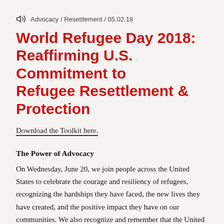Advocacy / Resettlement / 05.02.18
World Refugee Day 2018: Reaffirming U.S. Commitment to Refugee Resettlement & Protection
Download the Toolkit here.
The Power of Advocacy
On Wednesday, June 20, we join people across the United States to celebrate the courage and resiliency of refugees, recognizing the hardships they have faced, the new lives they have created, and the positive impact they have on our communities. We also recognize and remember that the United States has been a leader in protecting and resettling refugees. As we face significant efforts to dismantle the U.S. refugee